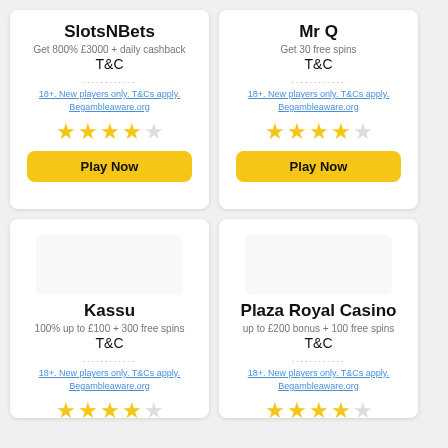SlotsNBets
Get 800% £3000 + daily cashback
T&C
18+. New players only. T&Cs apply. Begambleaware.org
Play Now
Mr Q
Get 30 free spins
T&C
18+. New players only. T&Cs apply. Begambleaware.org
Play Now
Kassu
100% up to £100 + 300 free spins
T&C
18+. New players only. T&Cs apply. Begambleaware.org
Plaza Royal Casino
up to £200 bonus + 100 free spins
T&C
18+. New players only. T&Cs apply. Begambleaware.org